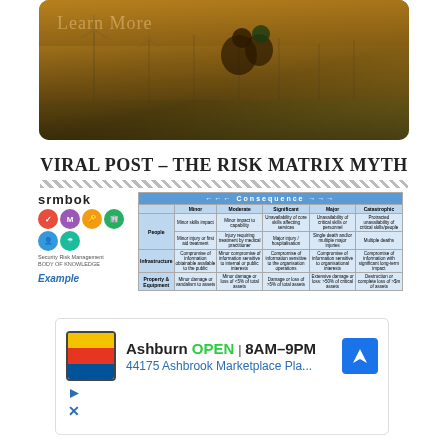[Figure (photo): Banner image showing two people sitting among wind turbines at sunset with a golden sky. Overlay text reads 'Learn More' with a right arrow chevron.]
VIRAL POST – THE RISK MATRIX MYTH
[Figure (table-as-image): SRMBOK (Security Risk Management Body of Knowledge) logo with colored icons, labeled 'Example', alongside a Consequence matrix/risk table with blue headers and rows for People, Infrastructure, Property & Equipment.]
[Figure (screenshot): Advertisement showing Lidl store in Ashburn, OPEN 8AM–9PM, address 44175 Ashbrook Marketplace Pla..., with navigation icon, play button and close button controls.]